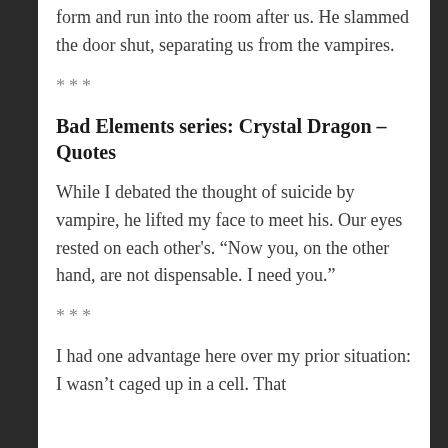form and run into the room after us. He slammed the door shut, separating us from the vampires.
***
Bad Elements series: Crystal Dragon – Quotes
While I debated the thought of suicide by vampire, he lifted my face to meet his. Our eyes rested on each other's. “Now you, on the other hand, are not dispensable. I need you.”
***
I had one advantage here over my prior situation: I wasn’t caged up in a cell. That